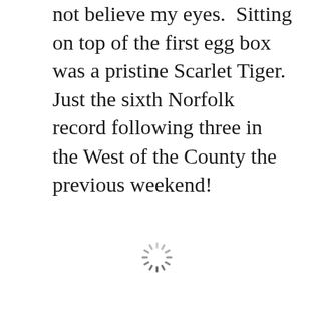not believe my eyes.  Sitting on top of the first egg box was a pristine Scarlet Tiger.  Just the sixth Norfolk record following three in the West of the County the previous weekend!
[Figure (other): A loading spinner icon (circular dashed spinner graphic) centered on the lower half of the page]